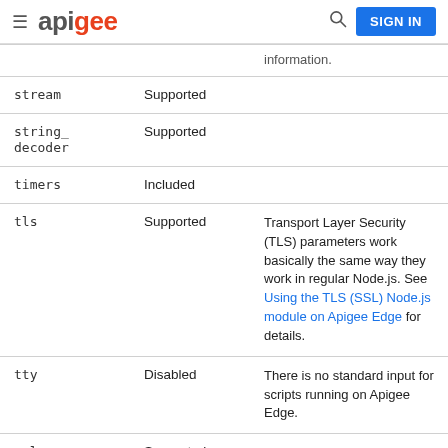apigee | SIGN IN
| Module | Status | Notes |
| --- | --- | --- |
| (partial row) |  | information. |
| stream | Supported |  |
| string_decoder | Supported |  |
| timers | Included |  |
| tls | Supported | Transport Layer Security (TLS) parameters work basically the same way they work in regular Node.js. See Using the TLS (SSL) Node.js module on Apigee Edge for details. |
| tty | Disabled | There is no standard input for scripts running on Apigee Edge. |
| url | Supported |  |
| util | Supported |  |